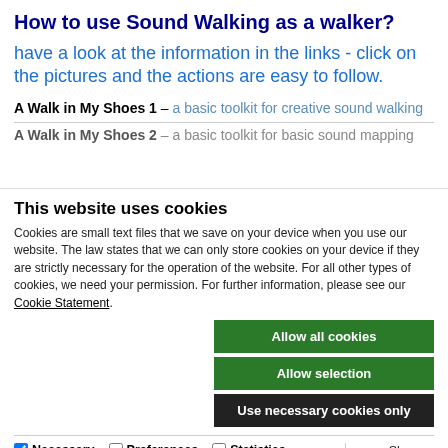How to use Sound Walking as a walker?
have a look at the information in the links - click on the pictures and the actions are easy to follow.
A Walk in My Shoes 1 – a basic toolkit for creative sound walking
A Walk in My Shoes 2 – a basic toolkit for basic sound mapping
This website uses cookies
Cookies are small text files that we save on your device when you use our website. The law states that we can only store cookies on your device if they are strictly necessary for the operation of the website. For all other types of cookies, we need your permission. For further information, please see our Cookie Statement.
Allow all cookies
Allow selection
Use necessary cookies only
Necessary  Preferences  Statistics  Marketing  Show details